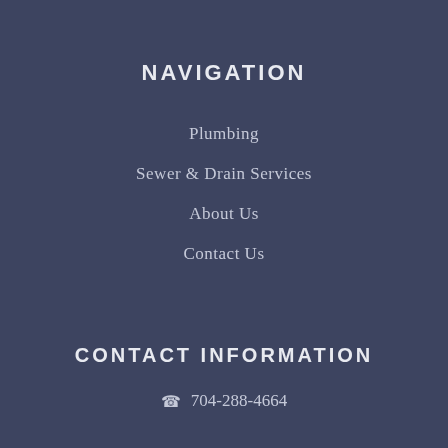NAVIGATION
Plumbing
Sewer & Drain Services
About Us
Contact Us
CONTACT INFORMATION
704-288-4664